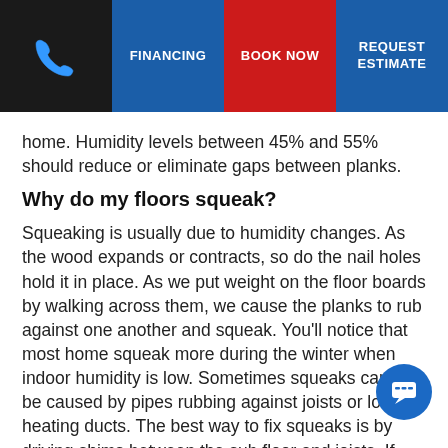FINANCING | BOOK NOW | REQUEST ESTIMATE
home. Humidity levels between 45% and 55% should reduce or eliminate gaps between planks.
Why do my floors squeak?
Squeaking is usually due to humidity changes. As the wood expands or contracts, so do the nail holes hold it in place. As we put weight on the floor boards by walking across them, we cause the planks to rub against one another and squeak. You'll notice that most home squeak more during the winter when indoor humidity is low. Sometimes squeaks can also be caused by pipes rubbing against joists or loose heating ducts. The best way to fix squeaks is by driving shims between the sub floor and joists. If you can't get to the sub floor from underneath, a flooring professional can shoot 2-inch finish nails through the floor diagonally to hold down the loose